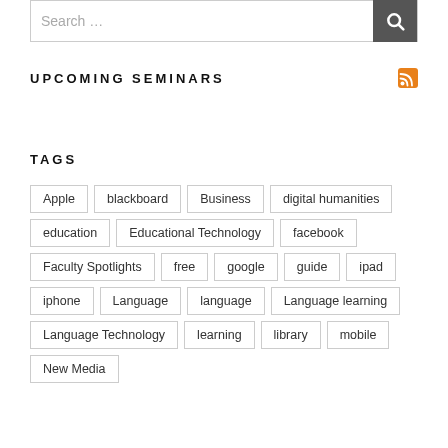Search …
UPCOMING SEMINARS
TAGS
Apple
blackboard
Business
digital humanities
education
Educational Technology
facebook
Faculty Spotlights
free
google
guide
ipad
iphone
Language
language
Language learning
Language Technology
learning
library
mobile
New Media